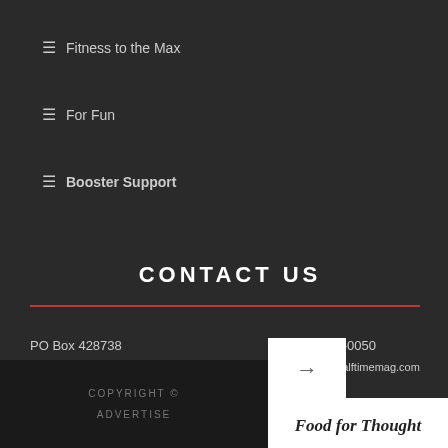≡ Fitness to the Max
≡ For Fun
≡ Booster Support
CONTACT US
PO Box 428738
Cincinnati, OH 45242
310-594-0050
admin@halftimemag.com
Visit the Contact information and ...
Food for Thought
More and more people are eliminating certain foods—such as gluten and dairy—from their diet to feel fit. Is it right for you? From Halftime Magazine, ...
COPYRIGHT ©
ADVERTISE